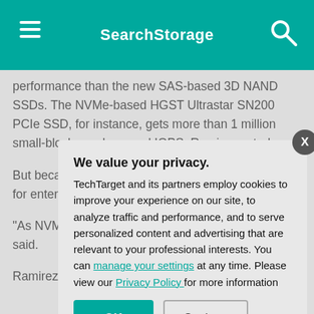SearchStorage
performance than the new SAS-based 3D NAND SSDs. The NVMe-based HGST Ultrastar SN200 PCIe SSD, for instance, gets more than 1 million small-block, random-read IOPS, Ramirez noted.
But because les... storage architect... or less, the SAS... for enterprise se... high numbers of...
"As NVMe infra... number of drives... that's why SAS i... said.
Ramirez said the...
[Figure (screenshot): Privacy consent modal dialog over page content. Title: 'We value your privacy.' Body text: 'TechTarget and its partners employ cookies to improve your experience on our site, to analyze traffic and performance, and to serve personalized content and advertising that are relevant to your professional interests. You can manage your settings at any time. Please view our Privacy Policy for more information'. Buttons: OK (teal) and Settings (outlined).]